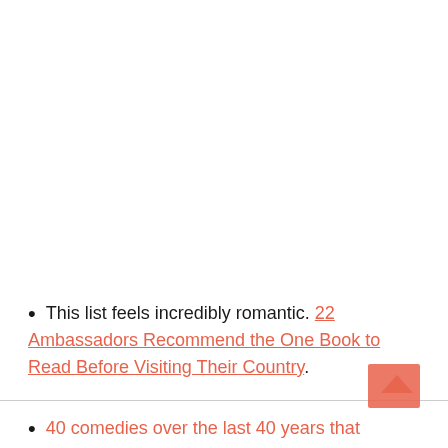This list feels incredibly romantic. 22 Ambassadors Recommend the One Book to Read Before Visiting Their Country.
40 comedies over the last 40 years that